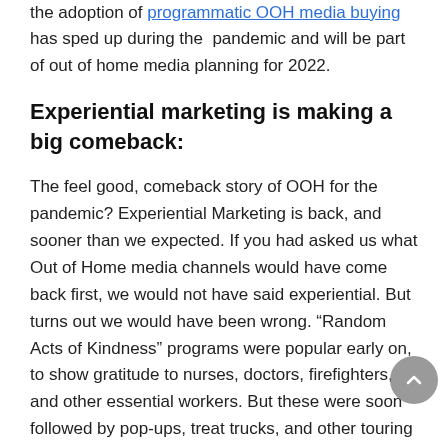the adoption of programmatic OOH media buying has sped up during the pandemic and will be part of out of home media planning for 2022.
Experiential marketing is making a big comeback:
The feel good, comeback story of OOH for the pandemic? Experiential Marketing is back, and sooner than we expected. If you had asked us what Out of Home media channels would have come back first, we would not have said experiential. But turns out we would have been wrong. “Random Acts of Kindness” programs were popular early on, to show gratitude to nurses, doctors, firefighters, and other essential workers. But these were soon followed by pop-ups, treat trucks, and other touring programs that could be executed outdoors to accommodate safety concerns.